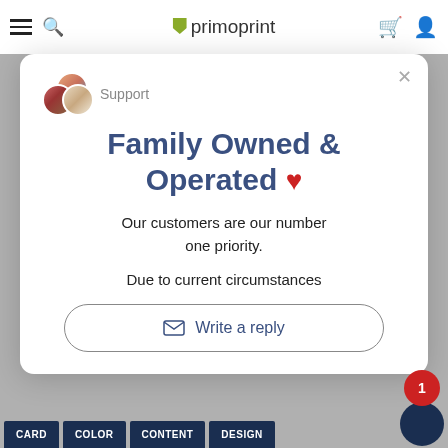primoprint
Family Owned & Operated ❤
Support
Our customers are our number one priority.
Due to current circumstances
Write a reply
CARD  COLOR  CONTENT  DESIGN